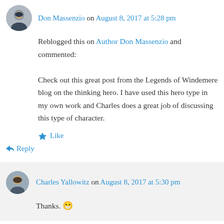Don Massenzio on August 8, 2017 at 5:28 pm
Reblogged this on Author Don Massenzio and commented:
Check out this great post from the Legends of Windemere blog on the thinking hero. I have used this hero type in my own work and Charles does a great job of discussing this type of character.
Like
Reply
Charles Yallowitz on August 8, 2017 at 5:30 pm
Thanks. 😁